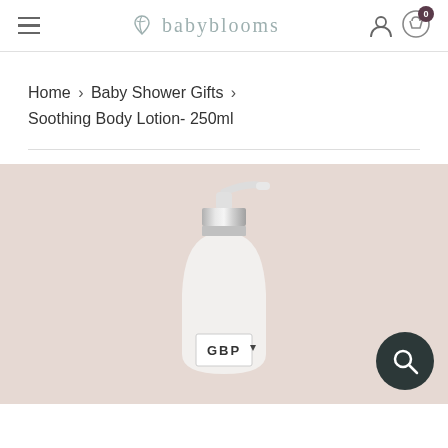babyblooms
Home › Baby Shower Gifts › Soothing Body Lotion- 250ml
[Figure (photo): A white pump-dispenser body lotion bottle with a silver chrome collar on a light pinkish-beige background. The bottle has a label area showing 'GBP' with a dropdown arrow. A dark circular search icon overlay appears in the bottom right corner.]